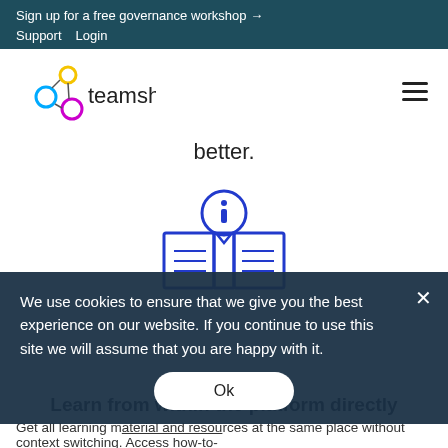Sign up for a free governance workshop →
Support   Login
[Figure (logo): teamshub logo with colored circles (yellow, blue, magenta) and text 'teamshub']
better.
[Figure (illustration): Blue line icon of an open book with an information 'i' speech bubble above it and document lines on the pages]
We use cookies to ensure that we give you the best experience on our website. If you continue to use this site we will assume that you are happy with it.
Ok
Learn from within the platform directly
Get all learning material and resources at the same place without context switching. Access how-to-